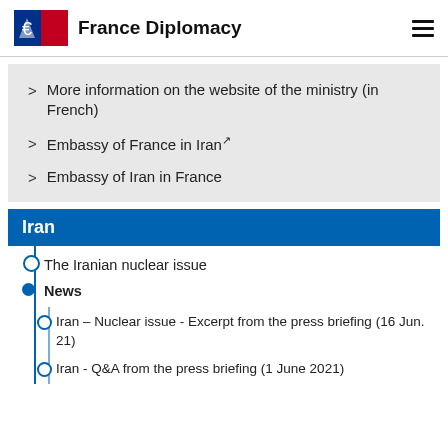France Diplomacy
More information on the website of the ministry (in French)
Embassy of France in Iran
Embassy of Iran in France
Iran
The Iranian nuclear issue
News
Iran – Nuclear issue - Excerpt from the press briefing (16 Jun. 21)
Iran - Q&A from the press briefing (1 June 2021)